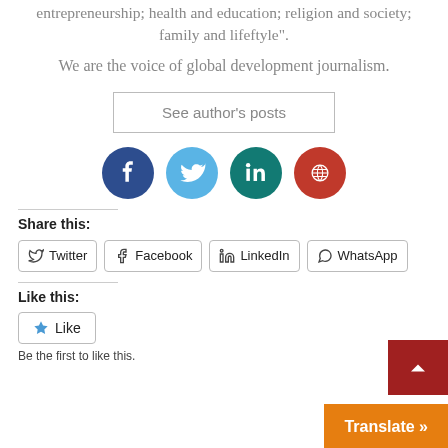entertainment, technology, and entrepreneurship; health and education; religion and society; family and lifeftyle".
We are the voice of global development journalism.
See author's posts
[Figure (infographic): Four social media icons: Facebook (dark blue), Twitter (light blue), LinkedIn (teal), and a globe/world icon (red)]
Share this:
Twitter
Facebook
LinkedIn
WhatsApp
Like this:
Like
Be the first to like this.